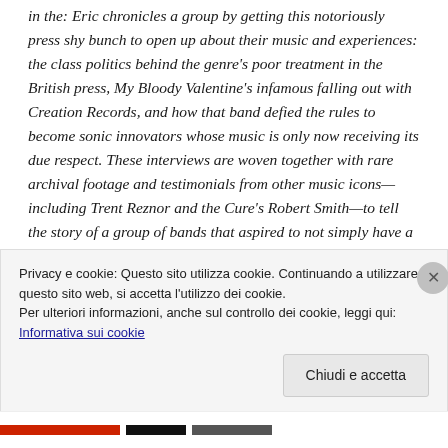in the: Eric chronicles a group by getting this notoriously press shy bunch to open up about their music and experiences: the class politics behind the genre's poor treatment in the British press, My Bloody Valentine's infamous falling out with Creation Records, and how that band defied the rules to become sonic innovators whose music is only now receiving its due respect. These interviews are woven together with rare archival footage and testimonials from other music icons—including Trent Reznor and the Cure's Robert Smith—to tell the story of a group of bands that aspired to not simply have a hit song for one week, but to make music that would change lives forever.
Privacy e cookie: Questo sito utilizza cookie. Continuando a utilizzare questo sito web, si accetta l'utilizzo dei cookie.
Per ulteriori informazioni, anche sul controllo dei cookie, leggi qui:
Informativa sui cookie
Chiudi e accetta